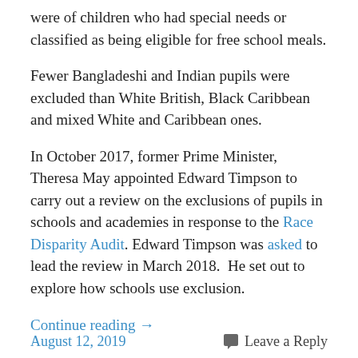were of children who had special needs or classified as being eligible for free school meals.
Fewer Bangladeshi and Indian pupils were excluded than White British, Black Caribbean and mixed White and Caribbean ones.
In October 2017, former Prime Minister, Theresa May appointed Edward Timpson to carry out a review on the exclusions of pupils in schools and academies in response to the Race Disparity Audit. Edward Timpson was asked to lead the review in March 2018.  He set out to explore how schools use exclusion.
Continue reading →
August 12, 2019   Leave a Reply